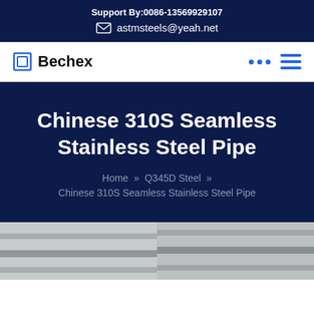Support By:0086-13569929107
astmsteels@yeah.net
[Figure (logo): Bechex logo with square bracket icon]
Chinese 310S Seamless Stainless Steel Pipe
Home » Q345D Steel » Chinese 310S Seamless Stainless Steel Pipe
[Figure (photo): Photo of stainless steel pipes in an industrial setting]